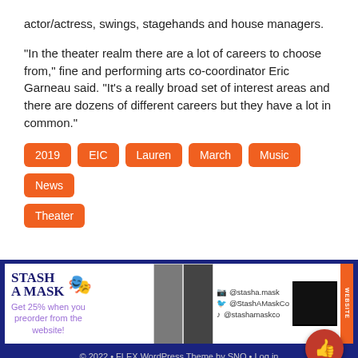actor/actress, swings, stagehands and house managers.
“In the theater realm there are a lot of careers to choose from,” fine and performing arts co-coordinator Eric Garneau said. “It’s a really broad set of interest areas and there are dozens of different careers but they have a lot in common.”
2019
EIC
Lauren
March
Music
News
Theater
[Figure (infographic): Stash A Mask advertisement banner with logo, social media handles (@stasha.mask, @StashAMaskCo, @stashamaskco), QR code, and product images. Text: Get 25% when you preorder from the website!]
© 2022 • FLEX WordPress Theme by SNO • Log in